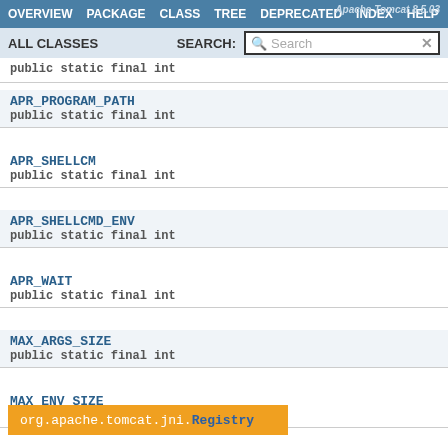OVERVIEW  PACKAGE  CLASS  TREE  DEPRECATED  INDEX  HELP  Apache Tomcat 8.5.03
ALL CLASSES  SEARCH:
APR_PROGRAM_PATH
public static final int
APR_SHELLCM
public static final int
APR_SHELLCMD_ENV
public static final int
APR_WAIT
public static final int
MAX_ARGS_SIZE
public static final int
MAX_ENV_SIZE
public static final int
org.apache.tomcat.jni.Registry